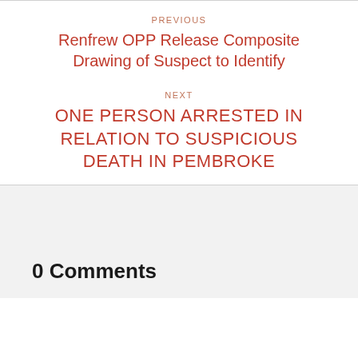PREVIOUS
Renfrew OPP Release Composite Drawing of Suspect to Identify
NEXT
ONE PERSON ARRESTED IN RELATION TO SUSPICIOUS DEATH IN PEMBROKE
0 Comments